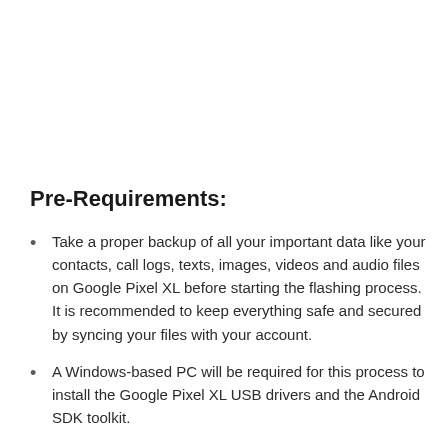Pre-Requirements:
Take a proper backup of all your important data like your contacts, call logs, texts, images, videos and audio files on Google Pixel XL before starting the flashing process. It is recommended to keep everything safe and secured by syncing your files with your account.
A Windows-based PC will be required for this process to install the Google Pixel XL USB drivers and the Android SDK toolkit.